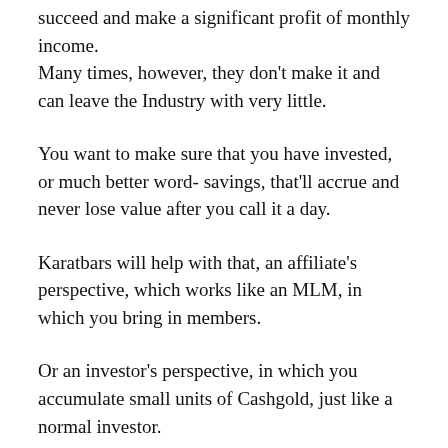succeed and make a significant profit of monthly income.
Many times, however, they don't make it and can leave the Industry with very little.
You want to make sure that you have invested, or much better word- savings, that'll accrue and never lose value after you call it a day.
Karatbars will help with that, an affiliate's perspective, which works like an MLM, in which you bring in members.
Or an investor's perspective, in which you accumulate small units of Cashgold, just like a normal investor.